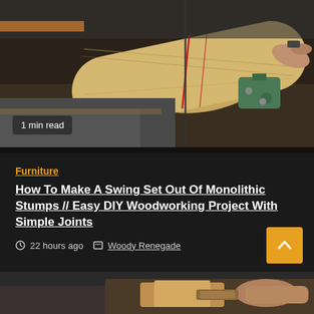[Figure (photo): Woodworking photo showing a large piece of wood being cut or shaped on a bandsaw or similar woodworking machine, with sawdust visible and clamps holding the piece in a workshop setting]
1 min read
Furniture
How To Make A Swing Set Out Of Monolithic Stumps // Easy DIY Woodworking Project With Simple Joints
22 hours ago   Woody Renegade